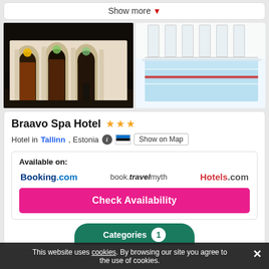Show more ♥
[Figure (photo): Night exterior shot of hotel with illuminated arches and warm lighting]
[Figure (photo): Indoor swimming pool with lane dividers, bright white interior]
Braavo Spa Hotel ★★★
Hotel in Tallinn , Estonia  [info icon] [Estonia flag] Show on Map
Available on:
Booking.com   book.travelmyth   Hotels.com
Check Availability
Categories  1
This website uses cookies. By browsing our site you agree to the use of cookies.